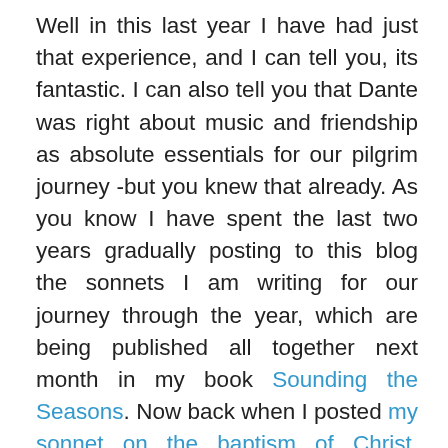Well in this last year I have had just that experience, and I can tell you, its fantastic. I can also tell you that Dante was right about music and friendship as absolute essentials for our pilgrim journey -but you knew that already. As you know I have spent the last two years gradually posting to this blog the sonnets I am writing for our journey through the year, which are being published all together next month in my book Sounding the Seasons. Now back when I posted my sonnet on the baptism of Christ, together with a sermon on the subject I thought that was it, job done. Not so. Only a few days later I got an email from my friend the  Canadian singer songwriter Steve Bell to say that the sonet had (literally) struck a chord with him and he had turned it into a song! Attached to the email was an mp3 file. and that's when I had my 'Casella moment'! My old poem had become completey new for me! It was given